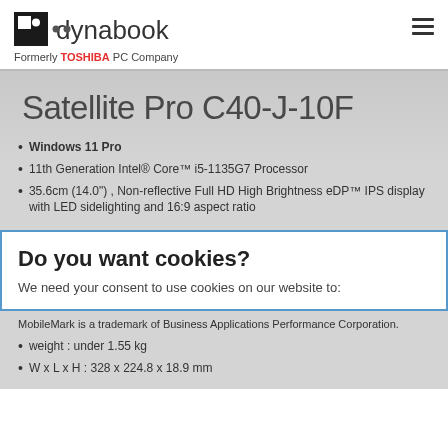dynabook — Formerly TOSHIBA PC Company
Satellite Pro C40-J-10F
Windows 11 Pro
11th Generation Intel® Core™ i5-1135G7 Processor
35.6cm (14.0") , Non-reflective Full HD High Brightness eDP™ IPS display with LED sidelighting and 16:9 aspect ratio
Do you want cookies?
We need your consent to use cookies on our website to:
MobileMark is a trademark of Business Applications Performance Corporation.
weight : under 1.55 kg
W x L x H : 328 x 224.8 x 18.9 mm